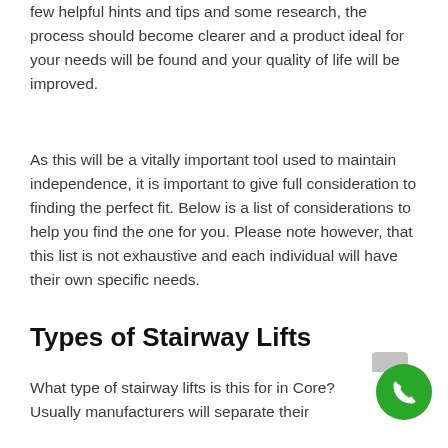few helpful hints and tips and some research, the process should become clearer and a product ideal for your needs will be found and your quality of life will be improved.
As this will be a vitally important tool used to maintain independence, it is important to give full consideration to finding the perfect fit. Below is a list of considerations to help you find the one for you. Please note however, that this list is not exhaustive and each individual will have their own specific needs.
Types of Stairway Lifts
What type of stairway lifts is this for in Core? Usually manufacturers will separate their products into straight stairlift and curved stai...